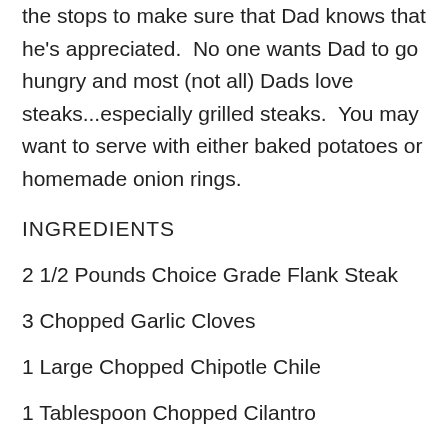the stops to make sure that Dad knows that he's appreciated.  No one wants Dad to go hungry and most (not all) Dads love steaks...especially grilled steaks.  You may want to serve with either baked potatoes or homemade onion rings.
INGREDIENTS
2 1/2 Pounds Choice Grade Flank Steak
3 Chopped Garlic Cloves
1 Large Chopped Chipotle Chile
1 Tablespoon Chopped Cilantro